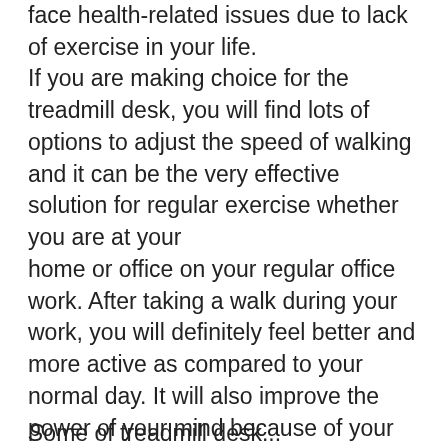face health-related issues due to lack of exercise in your life. If you are making choice for the treadmill desk, you will find lots of options to adjust the speed of walking and it can be the very effective solution for regular exercise whether you are at your home or office on your regular office work. After taking a walk during your work, you will definitely feel better and more active as compared to your normal day. It will also improve the power of your mind because of your activeness. You will be able to focus on your work in a better way and will complete the task with more creativity.
Some of treadmill desk...